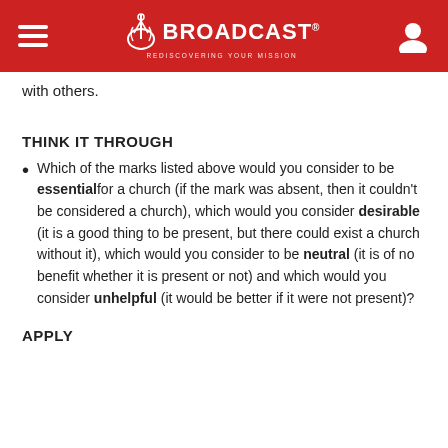BROADCAST
with others.
THINK IT THROUGH
Which of the marks listed above would you consider to be essential for a church (if the mark was absent, then it couldn't be considered a church), which would you consider desirable (it is a good thing to be present, but there could exist a church without it), which would you consider to be neutral (it is of no benefit whether it is present or not) and which would you consider unhelpful (it would be better if it were not present)?
APPLY